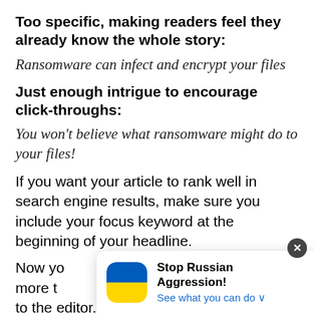Too specific, making readers feel they already know the whole story:
Ransomware can infect and encrypt your files
Just enough intrigue to encourage click-throughs:
You won't believe what ransomware might do to your files!
If you want your article to rank well in search engine results, make sure you include your focus keyword at the beginning of your headline.
Now yo more th to the editor.
[Figure (infographic): A popup banner with Ukrainian flag icon, bold text 'Stop Russian Aggression!' and a blue link 'See what you can do' with a dropdown chevron, plus a close (X) button.]